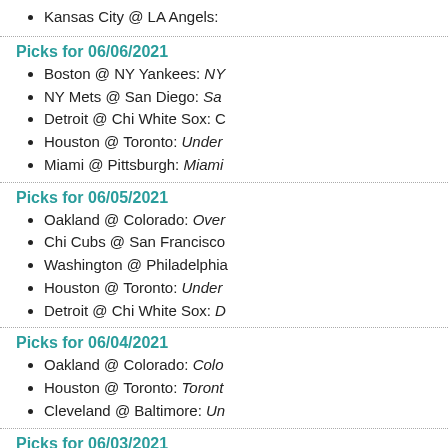Kansas City @ LA Angels:
Picks for 06/06/2021
Boston @ NY Yankees: NY
NY Mets @ San Diego: Sa
Detroit @ Chi White Sox: C
Houston @ Toronto: Under
Miami @ Pittsburgh: Miami
Picks for 06/05/2021
Oakland @ Colorado: Over
Chi Cubs @ San Francisco
Washington @ Philadelphia
Houston @ Toronto: Under
Detroit @ Chi White Sox: D
Picks for 06/04/2021
Oakland @ Colorado: Colo
Houston @ Toronto: Toront
Cleveland @ Baltimore: Un
Picks for 06/03/2021
Chi Cubs @ San Francisco
Seattle @ LA Angels: Unde
Detroit @ Chi White Sox: U
Picks for 06/02/2021